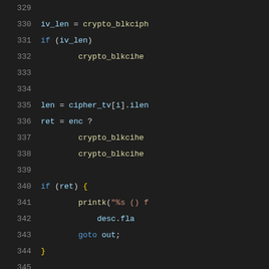[Figure (screenshot): Source code viewer showing C code lines 329-350, dark theme with syntax highlighting. Line numbers in gray on left. Keywords in blue, strings in orange/green, identifiers in light blue, punctuation in white.]